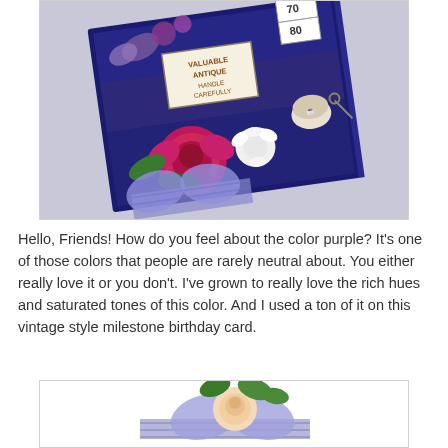[Figure (photo): A decorative vintage-style birthday card/album in navy blue with floral embellishments including a large pink/magenta rose, white flowers, purple gingham ribbon bow, butterfly, keys, and various vintage ephemera and stickers.]
Hello, Friends!  How do you feel about the color purple?  It's one of those colors that people are rarely neutral about.  You either really love it or you don't.  I've grown to really love the rich hues and saturated tones of this color.  And I used a ton of it on this vintage style milestone birthday card.
[Figure (photo): Partial view of another decorative card/project with purple gingham ribbon, a peach/cream rose, and green leaves against a white background.]